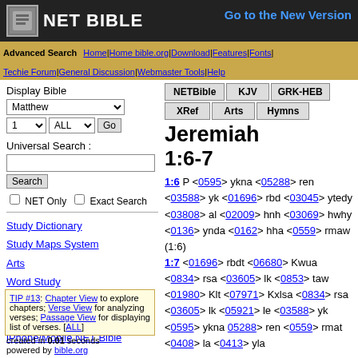NET BIBLE — Go to the New Version
Advanced Search | Home | Home bible.org | Download | Features | Fonts | Techie Forum | General Discussion | Webmaster Tools | Help
Display Bible
Universal Search :
NET Only  Exact Search
Study Dictionary
Study Maps System
Arts
Word Study
Sermon Illustrations
Daily Bible Reading
iPhone/Mobile NET Bible
TIP #13: Chapter View to explore chapters; Verse View for analyzing verses; Passage View for displaying list of verses. [ALL]
created in 0.01 seconds
powered by bible.org
Jeremiah
1:6-7
1:6 P <0595> ykna <05288> ren <03588> yk <01696> rbd <03045> ytedy <03808> al <02009> hnh <03069> hwhy <0136> ynda <0162> hha <0559> rmaw (1:6) 1:7 <01696> rbdt <06680> Kwua <0834> rsa <03605> lk <0853> taw <01980> Klt <07971> Kxlsa <0834> rsa <03605> lk <05921> le <03588> yk <0595> ykna <05288> ren <0559> rmat <0408> la <0413> yla